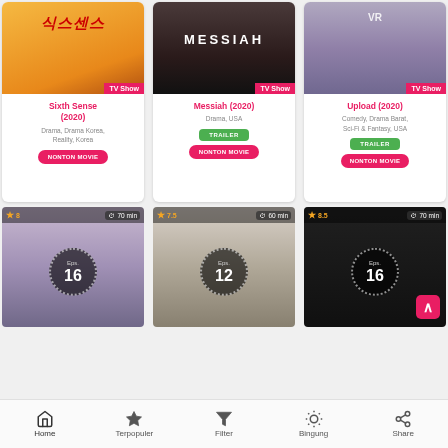[Figure (screenshot): TV show card for Sixth Sense (2020) with Korean drama poster on yellow background, TV Show badge]
Sixth Sense (2020)
Drama, Drama Korea, Reality, Korea
NONTON MOVIE
[Figure (screenshot): TV show card for Messiah (2020) with dark dramatic poster, TV Show badge]
Messiah (2020)
Drama, USA
TRAILER
NONTON MOVIE
[Figure (screenshot): TV show card for Upload (2020) with woman wearing VR headset, TV Show badge]
Upload (2020)
Comedy, Drama Barat, Sci-Fi & Fantasy, USA
TRAILER
NONTON MOVIE
[Figure (screenshot): Thumbnail card with star rating 8, 70 min, Eps. 16]
[Figure (screenshot): Thumbnail card with star rating 7.5, 60 min, Eps. 12]
[Figure (screenshot): Thumbnail card with star rating 8.5, 70 min, Eps. 16]
Home  Terpopuler  Filter  Bingung  Share